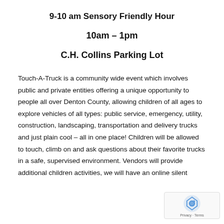9-10 am Sensory Friendly Hour
10am – 1pm
C.H. Collins Parking Lot
Touch-A-Truck is a community wide event which involves public and private entities offering a unique opportunity to people all over Denton County, allowing children of all ages to explore vehicles of all types: public service, emergency, utility, construction, landscaping, transportation and delivery trucks and just plain cool – all in one place! Children will be allowed to touch, climb on and ask questions about their favorite trucks in a safe, supervised environment. Vendors will provide additional children activities, we will have an online silent